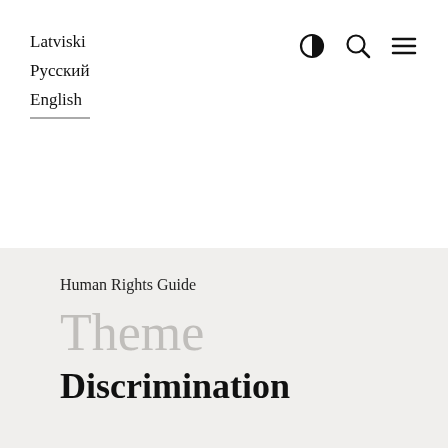Latviski
Русский
English
Human Rights Guide
Theme
Discrimination